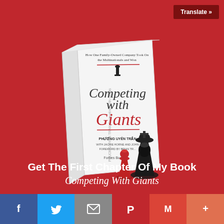Translate »
[Figure (illustration): Book cover of 'Competing with Giants' by Phuong Uyen Tran, with Jackie Horne and John. Foreword by Brian Tracy. Published by Forbes Books. Shows chess pieces - a red pawn and black king on the cover, with the subtitle 'How One Family-Owned Company Took On the Multinationals and Won'.]
Get The First Chapter Of My Book Competing With Giants
f
Twitter bird
mail envelope
P (Pinterest)
M (Gmail)
+